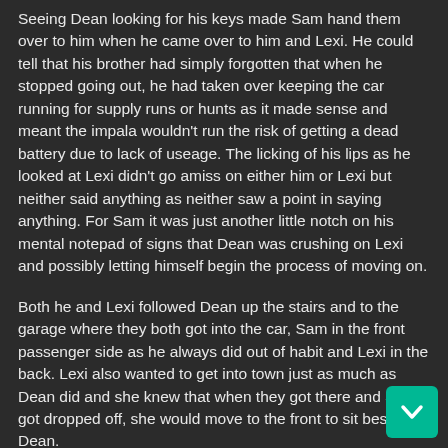Seeing Dean looking for his keys made Sam hand them over to him when he came over to him and Lexi. He could tell that his brother had simply forgotten that when he stopped going out, he had taken over keeping the car running for supply runs or hunts as it made sense and meant the impala wouldn't run the risk of getting a dead battery due to lack of useage. The licking of his lips as he looked at Lexi didn't go amiss on either him or Lexi but neither said anything as neither saw a point in saying anything. For Sam it was just another little notch on his mental notepad of signs that Dean was crushing on Lexi and possibly letting himself begin the process of moving on.
Both he and Lexi followed Dean up the stairs and to the garage where they both got into the car, Sam in the front passenger side as he always did out of habit and Lexi in the back. Lexi also wanted to get into town just as much as Dean did and she knew that when they got there and Sam got dropped off, she would move to the front to sit beside Dean.
Reaching the electronics store, Sam opened the door to get out when Dean made his teasing remark making him shake his head and roll his eyes, "yeah yeah...dont you do anything I wouldn't do either" he smirked back as he got out of the car and